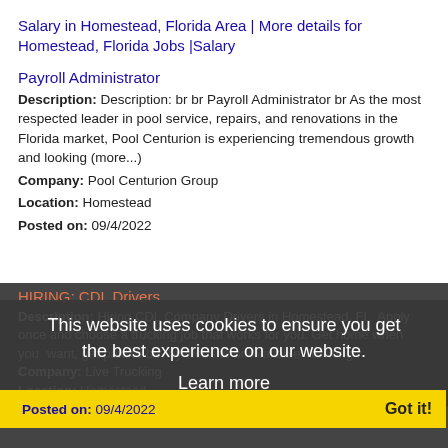Salary in Homestead, Florida Area | More details for Homestead, Florida Jobs |Salary
Payroll Administrator
Description: Description: br br Payroll Administrator br As the most respected leader in pool service, repairs, and renovations in the Florida market, Pool Centurion is experiencing tremendous growth and looking (more...)
Company: Pool Centurion Group
Location: Homestead
Posted on: 09/4/2022
HIRING: CDL Drivers
Description: Hiring CDL Company Drivers in Homestead, FL. Apply once and choose a trucking job that works for you. Get home when you want, get paid to be by website br Available Trucking
Company: Live Trucking
Location: Homestead
Posted on: 09/4/2022
This website uses cookies to ensure you get the best experience on our website. Learn more Got it!
Part-Time and Full-Time Teachers at KinderCare Learning Center at South Dade